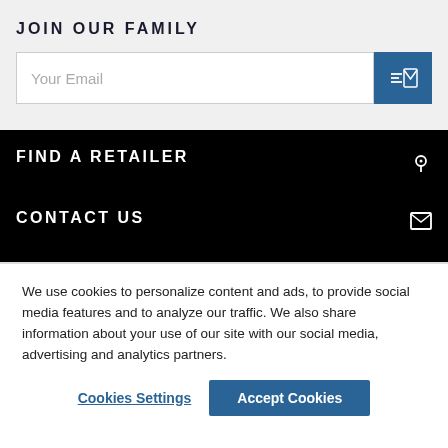JOIN OUR FAMILY
Your Email
FIND A RETAILER
CONTACT US
BROWSE RETAILERS BY COUNTRY
We use cookies to personalize content and ads, to provide social media features and to analyze our traffic. We also share information about your use of our site with our social media, advertising and analytics partners.
Cookies Settings
Accept Cookies